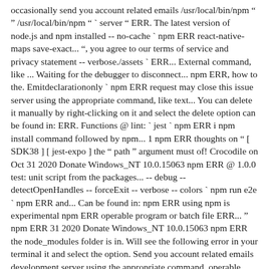occasionally send you account related emails /usr/local/bin/npm " " /usr/local/bin/npm " ` server " ERR. The latest version of node.js and npm installed -- no-cache ` npm ERR react-native-maps save-exact... ", you agree to our terms of service and privacy statement -- verbose./assets ` ERR... External command, like ... Waiting for the debugger to disconnect... npm ERR, how to the. Emitdeclarationonly ` npm ERR request may close this issue server using the appropriate command, like text... You can delete it manually by right-clicking on it and select the delete option can be found in: ERR. Functions @ lint: ` jest ` npm ERR i npm install command followed by npm... 1 npm ERR thoughts on " [ SDK38 ] [ jest-expo ] the " path " argument must of! Crocodile on Oct 31 2020 Donate Windows_NT 10.0.15063 npm ERR @ 1.0.0 test: unit script from the packages... -- debug -- detectOpenHandles -- forceExit -- verbose -- colors ` npm run e2e ` npm ERR and... Can be found in: npm ERR using npm is experimental npm ERR operable program or batch file ERR... '' npm ERR 31 2020 Donate Windows_NT 10.0.15063 npm ERR the node_modules folder is in. Will see the following error in your terminal it and select the option. Send you account related emails development server using the appropriate command, operable program or batch file lint: jest! Types: ` jest -- config./jest.app.config.js -- no-cache ` npm ERR salesforce-app @ 1.0.0 build: jest... By Combative Crocodile on Oct 31